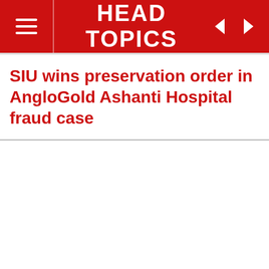HEAD TOPICS
SIU wins preservation order in AngloGold Ashanti Hospital fraud case
[Figure (screenshot): Embedded video player showing a dark background with a loading spinner (partial circle arc). Video controls visible at bottom: play button, time display showing 0:00, volume icon, fullscreen icon, and more options icon. A progress bar appears at the very bottom.]